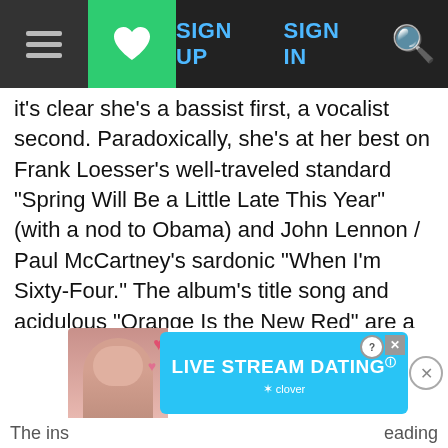SIGN UP  SIGN IN  [search]
it's clear she's a bassist first, a vocalist second. Paradoxically, she's at her best on Frank Loesser's well-traveled standard "Spring Will Be a Little Late This Year" (with a nod to Obama) and John Lennon / Paul McCartney's sardonic "When I'm Sixty-Four." The album's title song and acidulous "Orange Is the New Red" are a touch less coherent, owing in part to dodgy sound mixing and to Leitham's throaty timbre and imprecise articulation, but Steely Dan's "The Man in the Tin Foil Hat" (a.k.a. Donald J. Trump) comes through loud and clear, its trenchant satire landing squarely on target. The other vocals, "Manhood" and (no kidding) "The Dick Van Dyke Show Theme" rest somewhere in between.
[Figure (screenshot): Advertisement banner for 'LIVE STREAM DATING' by Clover app, with a photo of a woman and heart emojis on a blue background.]
The ins[tagram]  [con]eading